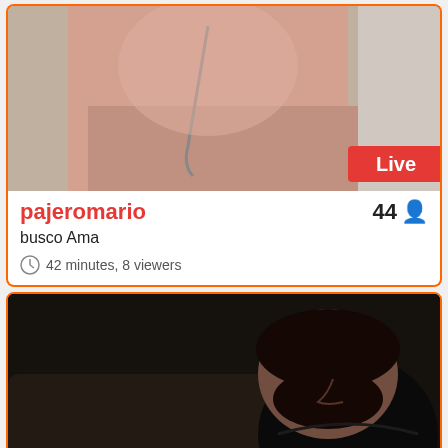[Figure (photo): Top thumbnail showing a person's torso/body with earphones, blurry background, with a red 'Live' badge in bottom-right corner]
pajeromario   44
busco Ama
42 minutes, 8 viewers
[Figure (photo): Second thumbnail showing a dark-lit scene with a bearded man wearing a black shirt, appears to be sitting in a vehicle or dark room]